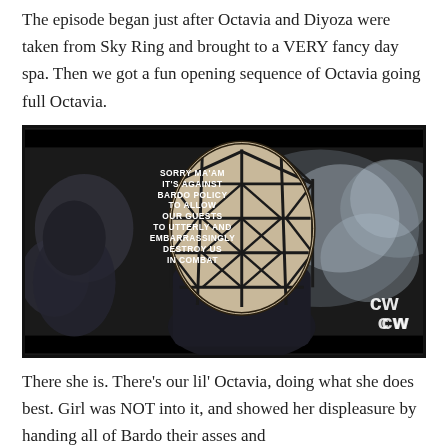The episode began just after Octavia and Diyoza were taken from Sky Ring and brought to a VERY fancy day spa. Then we got a fun opening sequence of Octavia going full Octavia.
[Figure (screenshot): Screenshot from a TV show (The 100 on The CW) showing a character in a geometric-patterned helmet/mask in dark sci-fi setting. White bold subtitle text overlay reads: SORRY MA'AM IT'S AGAINST BARDO POLICY TO ALLOW OUR GUESTS TO UTTERLY AND EMBARRASSINGLY DESTROY US IN COMBAT. CW network logo visible bottom right.]
There she is. There's our lil' Octavia, doing what she does best. Girl was NOT into it, and showed her displeasure by handing all of Bardo their asses and